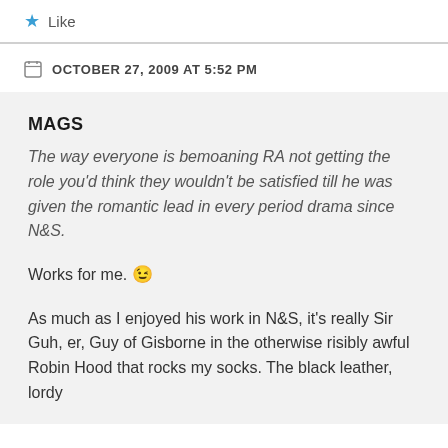★ Like
OCTOBER 27, 2009 AT 5:52 PM
MAGS
The way everyone is bemoaning RA not getting the role you'd think they wouldn't be satisfied till he was given the romantic lead in every period drama since N&S.
Works for me. 😉
As much as I enjoyed his work in N&S, it's really Sir Guh, er, Guy of Gisborne in the otherwise risibly awful Robin Hood that rocks my socks. The black leather, lordy